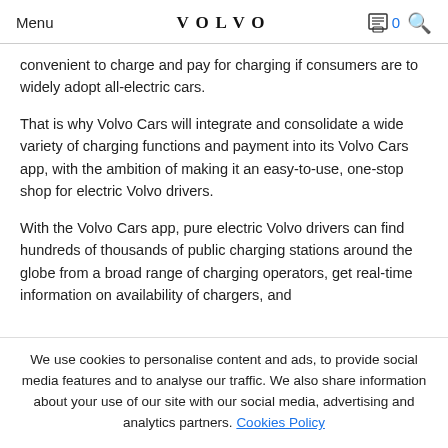Menu  VOLVO  0 🔍
convenient to charge and pay for charging if consumers are to widely adopt all-electric cars.
That is why Volvo Cars will integrate and consolidate a wide variety of charging functions and payment into its Volvo Cars app, with the ambition of making it an easy-to-use, one-stop shop for electric Volvo drivers.
With the Volvo Cars app, pure electric Volvo drivers can find hundreds of thousands of public charging stations around the globe from a broad range of charging operators, get real-time information on availability of chargers, and
We use cookies to personalise content and ads, to provide social media features and to analyse our traffic. We also share information about your use of our site with our social media, advertising and analytics partners. Cookies Policy